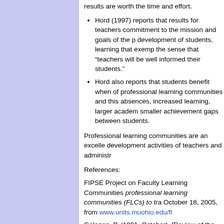results are worth the time and effort.
Hord (1997) reports that results for teachers commitment to the mission and goals of the p development of students, learning that exemp the sense that “teachers will be well informed their students.”
Hord also reports that students benefit when of professional learning communities and this absences, increased learning, larger academ smaller achievement gaps between students.
Professional learning communities are an excelle development activities of teachers and administr
References:
FIPSE Project on Faculty Learning Communities professional learning communities (FLCs) to tra October 18, 2005, from www.units.muohio.edu/fl
Galagan, P. (1991, October). [Review of the boo Learning Organization]. Training and Developme
Hord, S. (1997). Professional learning communit improvement. Retrieved November 4, 2005, fron
Newcomb, A. (2003). Peter Senge on organizatio